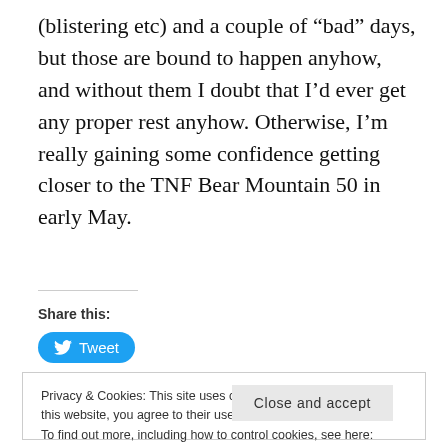(blistering etc) and a couple of “bad” days, but those are bound to happen anyhow, and without them I doubt that I’d ever get any proper rest anyhow. Otherwise, I’m really gaining some confidence getting closer to the TNF Bear Mountain 50 in early May.
Share this:
[Figure (other): Tweet button with Twitter bird logo on blue rounded rectangle background]
Privacy & Cookies: This site uses cookies. By continuing to use this website, you agree to their use.
To find out more, including how to control cookies, see here: Cookie Policy
Close and accept